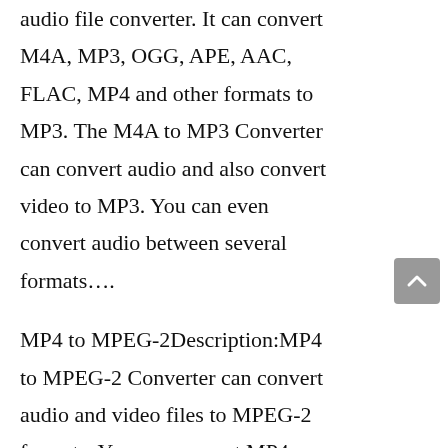audio file converter. It can convert M4A, MP3, OGG, APE, AAC, FLAC, MP4 and other formats to MP3. The M4A to MP3 Converter can convert audio and also convert video to MP3. You can even convert audio between several formats….
MP4 to MPEG-2Description:MP4 to MPEG-2 Converter can convert audio and video files to MPEG-2 formats. You can convert MP4, MPG, WMV, MKV, MPEG and other video/audio formats to MPEG-2 for backup, playback, online streaming and personal use. And you can also convert audio formats such as MP3, M4A, WAV, OGG, APE,